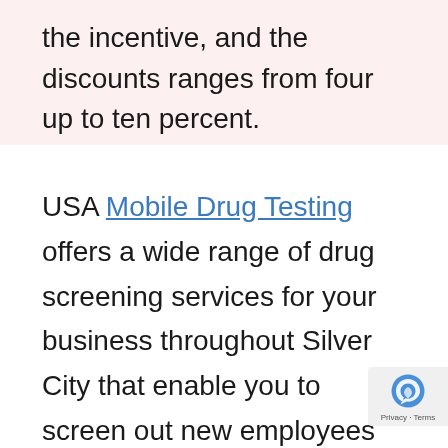the incentive, and the discounts ranges from four up to ten percent.
USA Mobile Drug Testing offers a wide range of drug screening services for your business throughout Silver City that enable you to screen out new employees with a substance abuse problem, discourage current staff from using drugs, and identify those who do. All while ensuring DOT compliance you're regulated, or just freeing you up